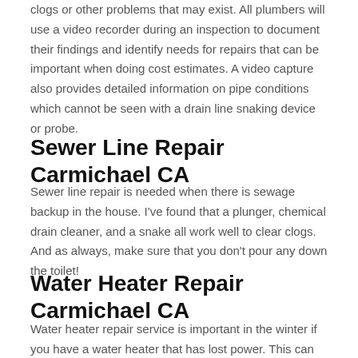clogs or other problems that may exist. All plumbers will use a video recorder during an inspection to document their findings and identify needs for repairs that can be important when doing cost estimates. A video capture also provides detailed information on pipe conditions which cannot be seen with a drain line snaking device or probe.
Sewer Line Repair Carmichael CA
Sewer line repair is needed when there is sewage backup in the house. I've found that a plunger, chemical drain cleaner, and a snake all work well to clear clogs. And as always, make sure that you don't pour any down the toilet!
Water Heater Repair Carmichael CA
Water heater repair service is important in the winter if you have a water heater that has lost power. This can be caused by a power...